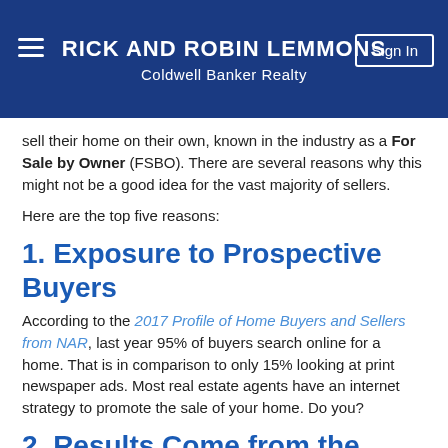RICK AND ROBIN LEMMONS
Coldwell Banker Realty
sell their home on their own, known in the industry as a For Sale by Owner (FSBO). There are several reasons why this might not be a good idea for the vast majority of sellers.
Here are the top five reasons:
1. Exposure to Prospective Buyers
According to the 2017 Profile of Home Buyers and Sellers from NAR, last year 95% of buyers search online for a home. That is in comparison to only 15% looking at print newspaper ads. Most real estate agents have an internet strategy to promote the sale of your home. Do you?
2. Results Come from the Internet
Where did buyers find the home they actually